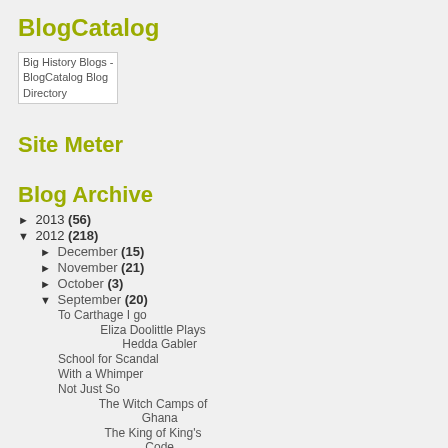BlogCatalog
[Figure (other): Big History Blogs - BlogCatalog Blog Directory badge/image placeholder]
Site Meter
Blog Archive
► 2013 (56)
▼ 2012 (218)
► December (15)
► November (21)
► October (3)
▼ September (20)
To Carthage I go
Eliza Doolittle Plays Hedda Gabler
School for Scandal
With a Whimper
Not Just So
The Witch Camps of Ghana
The King of King's Code
Dumb for the Dumber
Last Man Standing